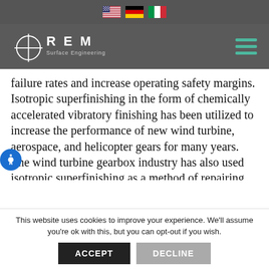Flag icons: US, DE, IT
[Figure (logo): REM Surface Engineering logo with crosshair symbol and company name]
failure rates and increase operating safety margins. Isotropic superfinishing in the form of chemically accelerated vibratory finishing has been utilized to increase the performance of new wind turbine, aerospace, and helicopter gears for many years. The wind turbine gearbox industry has also used isotropic superfinishing as a method of repairing damaged gears for
This website uses cookies to improve your experience. We'll assume you're ok with this, but you can opt-out if you wish.
ACCEPT | DECLINE